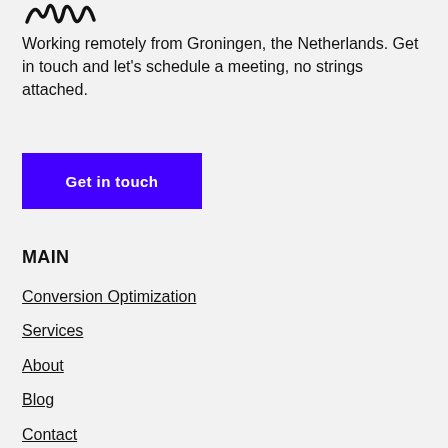[Figure (logo): Handwritten/script logo mark in black]
Working remotely from Groningen, the Netherlands. Get in touch and let's schedule a meeting, no strings attached.
Get in touch
MAIN
Conversion Optimization
Services
About
Blog
Contact